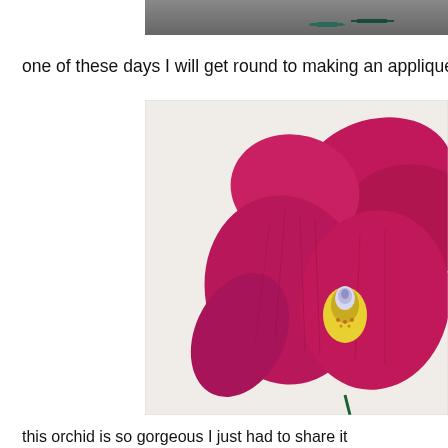[Figure (photo): Partial view of a photo showing vases or objects on a surface, cropped at top]
one of these days I will get round to making an applique
[Figure (photo): Close-up photo of deep pink/magenta orchid flowers against a light background]
this orchid is so gorgeous I just had to share it